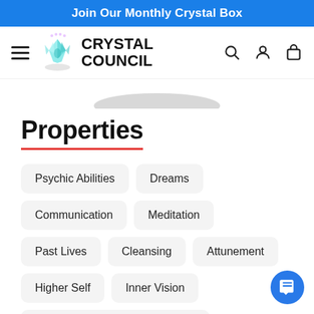Join Our Monthly Crystal Box
[Figure (logo): Crystal Council logo with crystal icon and hamburger menu, search, user, and cart icons]
[Figure (photo): Partial crystal/bowl image visible at bottom of header area]
Properties
Psychic Abilities
Dreams
Communication
Meditation
Past Lives
Cleansing
Attunement
Higher Self
Inner Vision
Attunement With Higher Realms